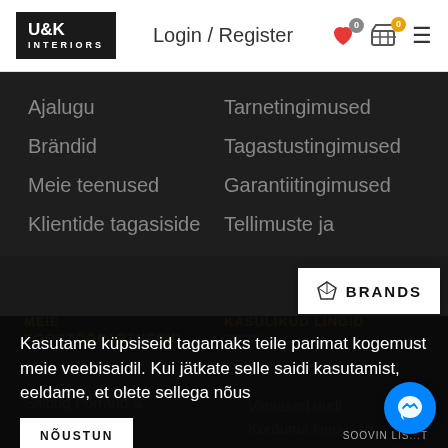U&K INTERIORS | Login / Register
Ajalugu
Tarnetingimused
Brändid
Tagastustingimused
Meie teenused
Garantiitingimused
Klientide tagasiside
Tellimuste ja
[Figure (other): BRANDS popup button with diamond icon]
MEIE KOOSTÖÖPARTNERID
KASULIKUD LINGID
Kasutame küpsiseid tagamaks teile parimat kogemust meie veebisaidil. Kui jätkate selle saidi kasutamist, eeldame, et olete sellega nõus
NÕUSTUN
SOOVIN LISATEAVET
Salong Põrrand & Zein
Viimased uudised
Korduma kippuvad